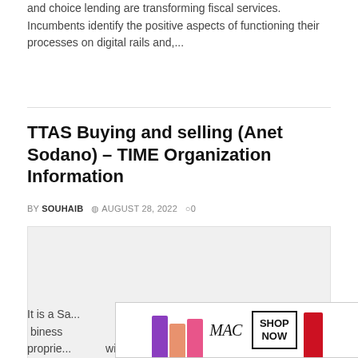and choice lending are transforming fiscal services. Incumbents identify the positive aspects of functioning their processes on digital rails and,...
TTAS Buying and selling (Anet Sodano) – TIME Organization Information
BY SOUHAIB  © AUGUST 28, 2022  ◯ 0
[Figure (other): Large gray placeholder image area with a CLOSE button in the bottom right corner]
[Figure (other): MAC cosmetics advertisement banner showing lipsticks in purple, peach, pink, red colors with MAC logo and SHOP NOW button]
It is a Sa... biness proprie... with